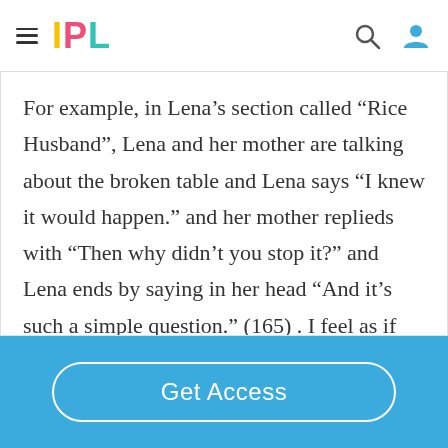IPL
For example, in Lena’s section called “Rice Husband”, Lena and her mother are talking about the broken table and Lena says “I knew it would happen.” and her mother replieds with “Then why didn’t you stop it?” and Lena ends by saying in her head “And it’s such a simple question.” (165) . I feel as if Lena’s story, like all the others, gets left unfinished
Get Access